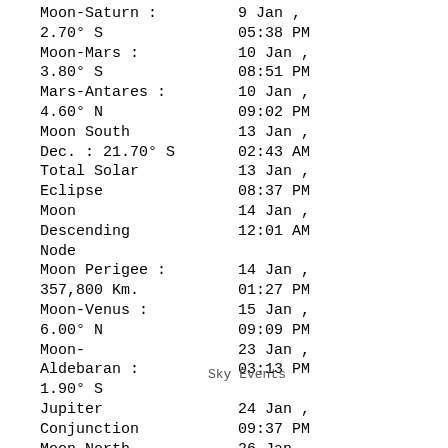Moon-Saturn : 2.70° S    9 Jan , 05:38 PM
Moon-Mars : 3.80° S    10 Jan , 08:51 PM
Mars-Antares : 4.60° N    10 Jan , 09:02 PM
Moon South Dec. : 21.70° S    13 Jan , 02:43 AM
Total Solar Eclipse    13 Jan , 08:37 PM
Moon Descending Node    14 Jan , 12:01 AM
Moon Perigee : 357,800 Km.    14 Jan , 01:27 PM
Moon-Venus : 6.00° N    15 Jan , 09:09 PM
Moon-Aldebaran : 1.90° S    23 Jan , 03:13 PM
Sky Events
Jupiter Conjunction    24 Jan , 09:37 PM
Moon North Dec. : 21.70° N    26 Jan , 06:42 AM
Moon Ascending    27 Jan , 09:54 AM